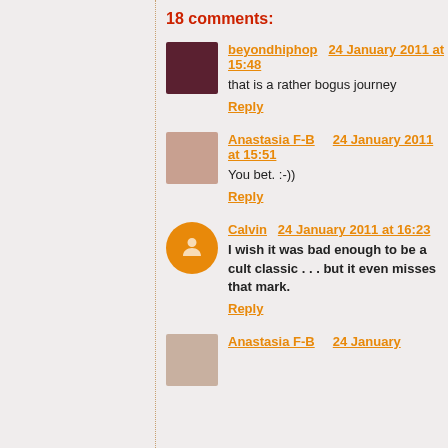18 comments:
beyondhiphop 24 January 2011 at 15:48
that is a rather bogus journey
Reply
Anastasia F-B 24 January 2011 at 15:51
You bet. :-))
Reply
Calvin 24 January 2011 at 16:23
I wish it was bad enough to be a cult classic . . . but it even misses that mark.
Reply
Anastasia F-B 24 January 2011 at ...